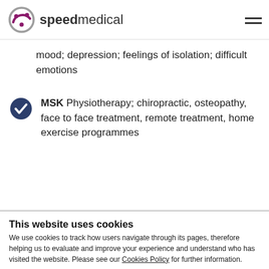speedmedical
mood; depression; feelings of isolation; difficult emotions
MSK Physiotherapy; chiropractic, osteopathy, face to face treatment, remote treatment, home exercise programmes
This website uses cookies
We use cookies to track how users navigate through its pages, therefore helping us to evaluate and improve your experience and understand who has visited the website. Please see our Cookies Policy for further information.
Allow selection | Allow all cookies
Necessary  Preferences  Statistics  Marketing  Show details